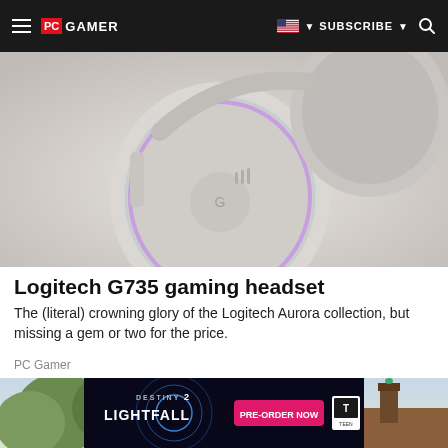PC GAMER | SUBSCRIBE
[Figure (photo): Close-up photo of a white Logitech G735 gaming headset with RGB lighting (pink/blue/purple glow) on the ear cup, silver accents, set against a light gray background.]
Logitech G735 gaming headset
The (literal) crowning glory of the Logitech Aurora collection, but missing a gem or two for the price.
PC Gamer
[Figure (photo): Outdoor photo showing trees with spring foliage, a rooftop with brick chimney against a light sky background.]
[Figure (screenshot): Advertisement banner for Destiny 2: Lightfall game — dark background with blue glowing circular design, game logo text 'DESTINY 2 LIGHTFALL', pink 'PRE-ORDER NOW' button, and ESRB Teen rating box on right.]